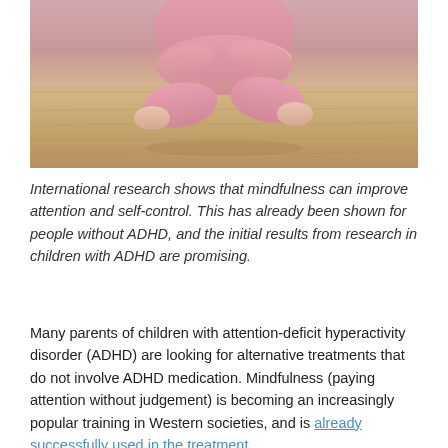[Figure (photo): A young child sitting cross-legged in pink clothing, viewed from the torso down, against a wooden floor background]
International research shows that mindfulness can improve attention and self-control. This has already been shown for people without ADHD, and the initial results from research in children with ADHD are promising.
Many parents of children with attention-deficit hyperactivity disorder (ADHD) are looking for alternative treatments that do not involve ADHD medication. Mindfulness (paying attention without judgement) is becoming an increasingly popular training in Western societies, and is already successfully used in the treatment